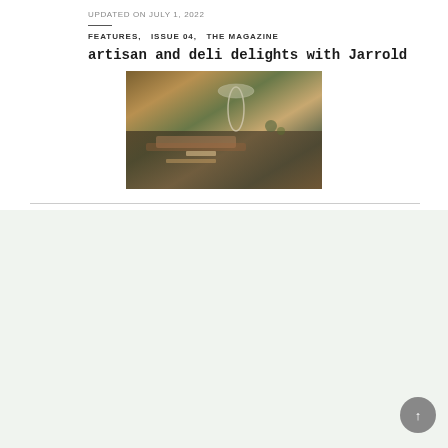UPDATED ON JULY 1, 2022
FEATURES,   ISSUE 04,   THE MAGAZINE
artisan and deli delights with Jarrold
[Figure (photo): A photo of artisan deli food spread with charcuterie, bread, wine glass and various deli items on a table]
Leave a Reply
Comment